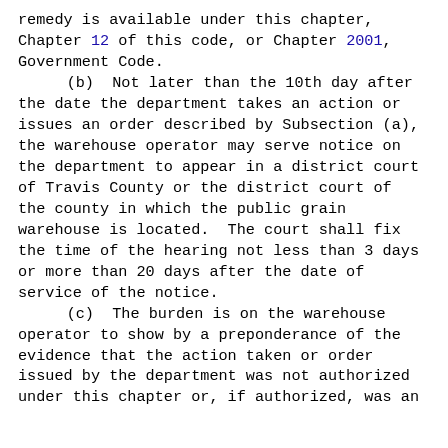remedy is available under this chapter, Chapter 12 of this code, or Chapter 2001, Government Code.
        (b)  Not later than the 10th day after the date the department takes an action or issues an order described by Subsection (a), the warehouse operator may serve notice on the department to appear in a district court of Travis County or the district court of the county in which the public grain warehouse is located.  The court shall fix the time of the hearing not less than 3 days or more than 20 days after the date of service of the notice.
        (c)  The burden is on the warehouse operator to show by a preponderance of the evidence that the action taken or order issued by the department was not authorized under this chapter or, if authorized, was an